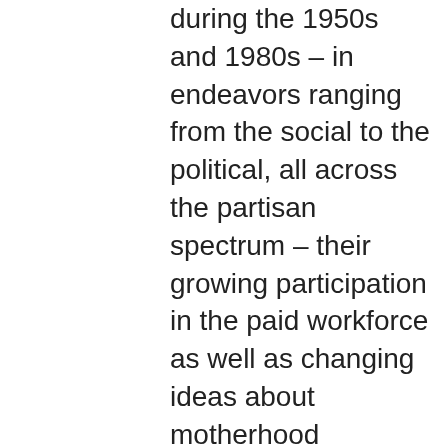during the 1950s and 1980s – in endeavors ranging from the social to the political, all across the partisan spectrum – their growing participation in the paid workforce as well as changing ideas about motherhood subsequently impacted this participation in critical ways. Also in play were changing conceptions of motherhood and child rearing styles.  Among the white middle class, from the alarmist notion of neurotic motherhood that evolved in the 1950s to the surge in hands-on parenting since the 1990s, these